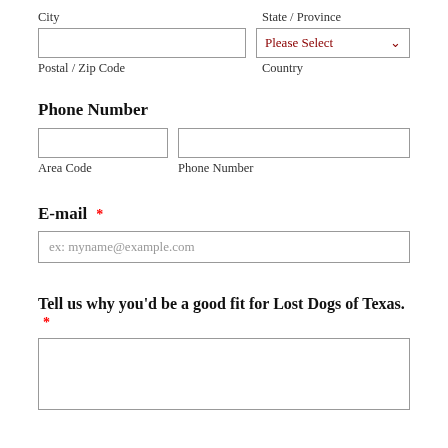City
State / Province
Postal / Zip Code
Country
Phone Number
Area Code
Phone Number
E-mail *
ex: myname@example.com
Tell us why you’d be a good fit for Lost Dogs of Texas. *